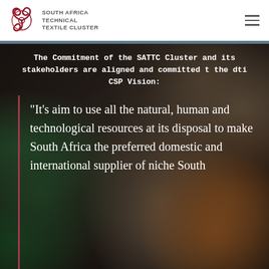[Figure (logo): South Africa Technical Textile Cluster logo — spiral/swirl icon in dark red/maroon with text 'SOUTH AFRICA TECHNICAL TEXTILE CLUSTER']
The Commitment of the SATTC Cluster and its stakeholders are aligned and committed t the dti CSP Vision:
“It’s aim to use all the natural, human and technological resources at its disposal to make South Africa the preferred domestic and international supplier of niche South